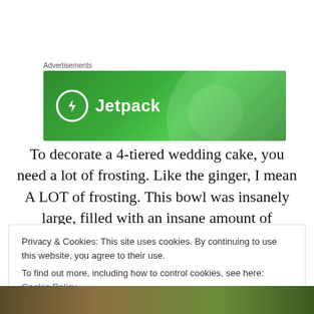[Figure (other): Jetpack advertisement banner — green gradient background with Jetpack logo (lightning bolt icon in white circle) and 'Jetpack' text in white. Above the banner is a small 'Advertisements' label.]
To decorate a 4-tiered wedding cake, you need a lot of frosting. Like the ginger, I mean A LOT of frosting. This bowl was insanely large, filled with an insane amount of frosting. Delicious, yes. Sickening, yes. Amazing, hell yes.
Privacy & Cookies: This site uses cookies. By continuing to use this website, you agree to their use.
To find out more, including how to control cookies, see here: Cookie Policy
[Figure (photo): Bottom strip showing a partial photo of what appears to be a cake or food item with green and brown tones.]